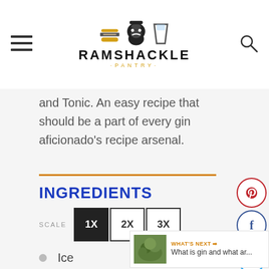[Figure (logo): Ramshackle Pantry logo with burger and beard icon, hamburger menu on left, search icon on right]
and Tonic. An easy recipe that should be a part of every gin aficionado's recipe arsenal.
INGREDIENTS
SCALE 1X 2X 3X
Ice
3 oz Gin
4 oz Tonic Water (or Tonic Syrup